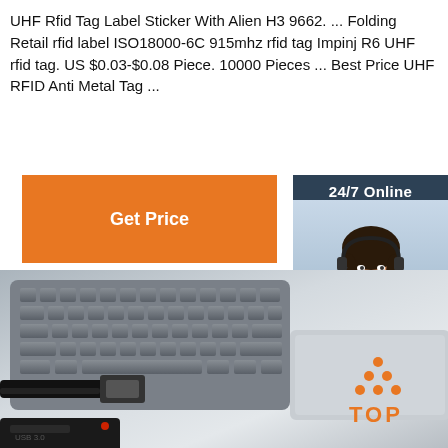UHF Rfid Tag Label Sticker With Alien H3 9662. ... Folding Retail rfid label ISO18000-6C 915mhz rfid tag Impinj R6 UHF rfid tag. US $0.03-$0.08 Piece. 10000 Pieces ... Best Price UHF RFID Anti Metal Tag ...
[Figure (other): Orange 'Get Price' button]
[Figure (other): Live chat sidebar widget with '24/7 Online' header, photo of woman with headset, 'Click here for free chat!' text, and orange QUOTATION button]
[Figure (photo): Close-up photo of laptop keyboard with USB cable and black USB drive attached, with orange TOP logo in bottom right corner]